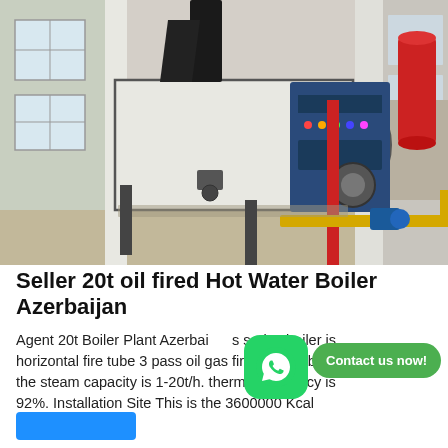[Figure (photo): Industrial boiler room with a large white horizontal fire tube boiler unit, black exhaust stack, red cylindrical tank, blue control panel, and yellow piping on the floor of a factory building.]
Seller 20t oil fired Hot Water Boiler Azerbaijan
Agent 20t Boiler Plant Azerbaijan s series boiler is horizontal fire tube 3 pass oil gas fired steam boiler. the steam capacity is 1-20t/h. thermal efficiency is 92%. Installation Site This is the 3600000 Kcal biomss fired...